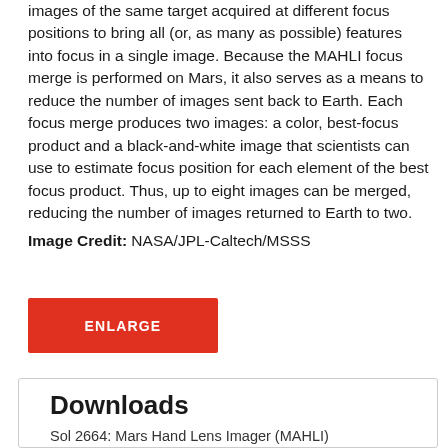images of the same target acquired at different focus positions to bring all (or, as many as possible) features into focus in a single image. Because the MAHLI focus merge is performed on Mars, it also serves as a means to reduce the number of images sent back to Earth. Each focus merge produces two images: a color, best-focus product and a black-and-white image that scientists can use to estimate focus position for each element of the best focus product. Thus, up to eight images can be merged, reducing the number of images returned to Earth to two.
Image Credit: NASA/JPL-Caltech/MSSS
ENLARGE
Downloads
Sol 2664: Mars Hand Lens Imager (MAHLI)